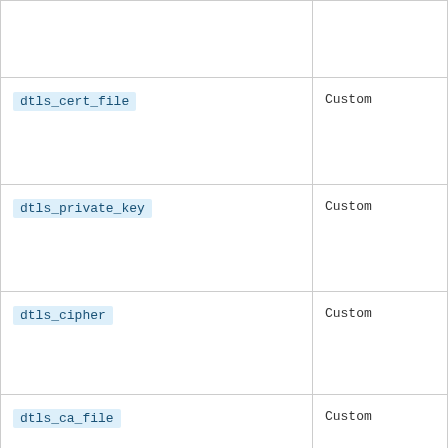| Parameter | Type |
| --- | --- |
|  |  |
| dtls_cert_file | Custom |
| dtls_private_key | Custom |
| dtls_cipher | Custom |
| dtls_ca_file | Custom |
| dtls_ca_path | Custom |